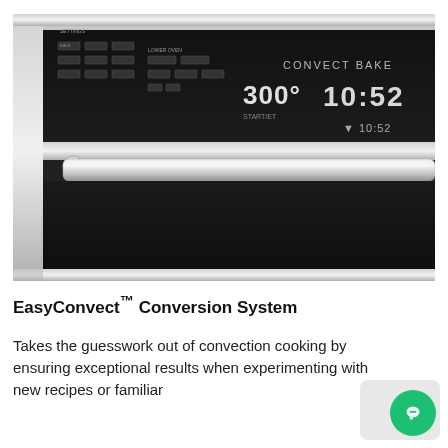[Figure (photo): Close-up photo of a stainless steel oven control panel in black and silver. The digital display shows 'CONVECT BAKE', temperature reading '300°', time '10:52', and a secondary display '10:52'. The oven has a large horizontal door handle in stainless steel.]
EasyConvect™ Conversion System
Takes the guesswork out of convection cooking by ensuring exceptional results when experimenting with new recipes or familiar